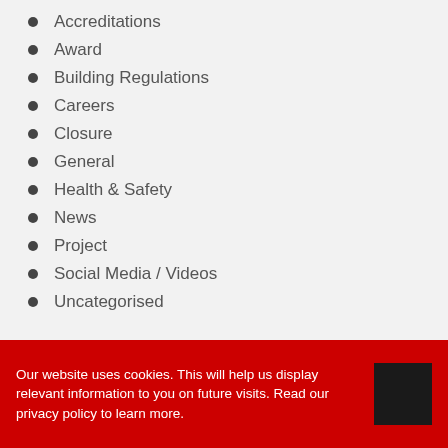Accreditations
Award
Building Regulations
Careers
Closure
General
Health & Safety
News
Project
Social Media / Videos
Uncategorised
Our website uses cookies. This will help us display relevant information to you on future visits. Read our privacy policy to learn more.